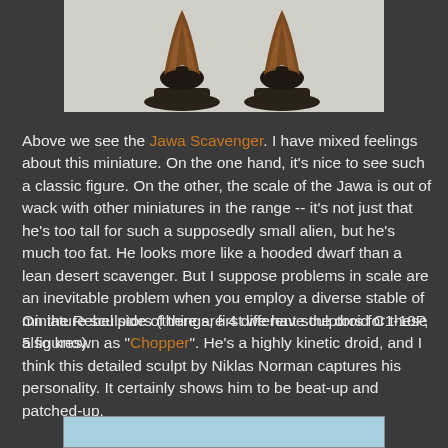[Figure (photo): Two Jawa Scavenger miniature figurines photographed against a white background, showing brown hooded figures on dark bases]
Above we see the Jawa Scavenger. I have mixed feelings about this miniature. On the one hand, it's nice to see such a classic figure. On the other, the scale of the Jawa is out of wack with other miniatures in the range -- it's not just that he's too tall for such a supposedly small alien, but he's much too fat. He looks more like a hooded dwarf than a lean desert scavenger. But I suppose problems in scale are an inevitable problem when you employ a diverse stable of miniature sculptors (there are 4 different sculptors for these 5 figures).
On the Rebel side of things, first we have the droid C1-10P, also known as "Chopper". He's a highly kinetic droid, and I think this detailed sculpt by Niklas Norman captures his personality. It certainly shows him to be beat-up and patched-up.
[Figure (photo): Partial view of another miniature figure at bottom of page, light blue/grey background visible]